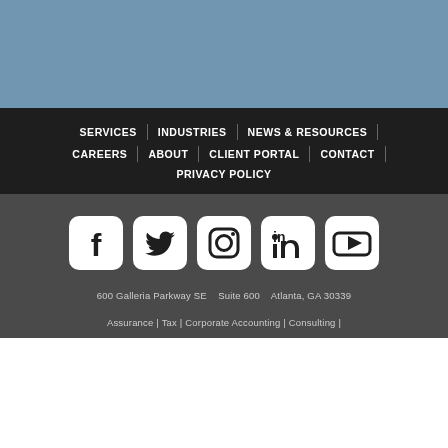[Figure (other): Blue/steel-colored decorative bar at the top of the page]
SERVICES | INDUSTRIES | NEWS & RESOURCES | CAREERS | ABOUT | CLIENT PORTAL | CONTACT | PRIVACY POLICY
[Figure (infographic): Row of five social media icons: Facebook, Twitter, Instagram, LinkedIn, YouTube — white icons on rounded square white backgrounds on dark gray background]
600 Galleria Parkway SE   Suite 600   Atlanta, GA 30339
Assurance | Tax | Corporate Accounting | Consulting |